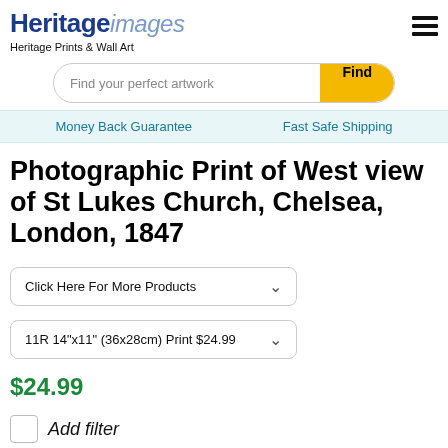Heritage images
Heritage Prints & Wall Art
[Figure (other): Search bar with placeholder 'Find your perfect artwork' and yellow 'Find' button]
Money Back Guarantee    Fast Safe Shipping
Photographic Print of West view of St Lukes Church, Chelsea, London, 1847
Click Here For More Products
11R 14"x11" (36x28cm) Print $24.99
$24.99
Add filter